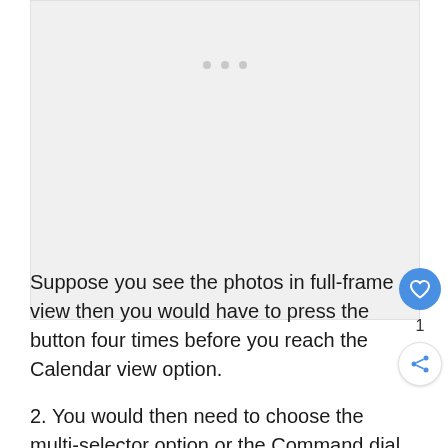[Figure (screenshot): A light grey placeholder image area with three grey dots centered near the top, representing a loading or blank content image.]
Suppose you see the photos in full-frame view then you would have to press the button four times before you reach the Calendar view option.
2. You would then need to choose the multi-selector option or the Command dial to move